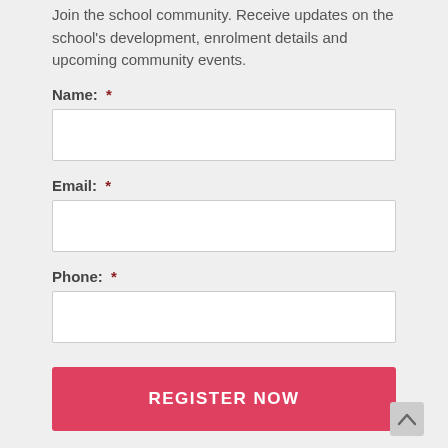Join the school community. Receive updates on the school's development, enrolment details and upcoming community events.
Name:  *
Email:  *
Phone:  *
REGISTER NOW